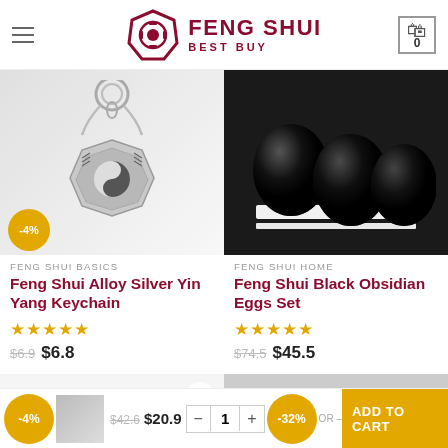FENG SHUI BEST BUY
[Figure (photo): Feng Shui Alloy Silver Yin Yang Keychain product photo - silver octagonal bagua keychain with yin yang symbol]
[Figure (photo): Feng Shui Black Obsidian Eggs Set product photo - three large black obsidian eggs on white shelf]
FENG SHUI BASICS
Feng Shui Alloy Silver Yin Yang Keychain
★★★★★
$6.9  $6.8
FENG SHUI HOME
Feng Shui Black Obsidian Eggs Set
★★★★★
$74.5  $45.5
-4%
$42.6  $20.9
- 1 +
-32%
OR –
ADD TO CART